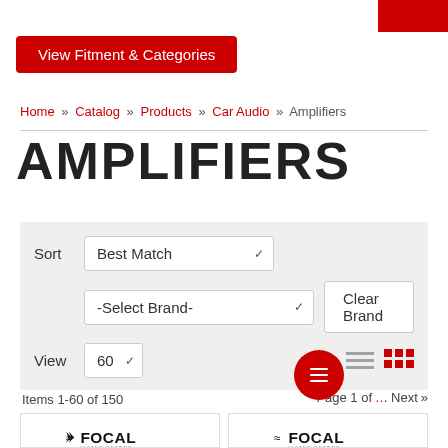View Fitment & Categories
Home » Catalog » Products » Car Audio » Amplifiers
AMPLIFIERS
Sort  Best Match  -Select Brand-  Clear Brand  View  60
Items 1-60 of 150
Page 1 of ...  Next »
[Figure (logo): Focal Listen Beyond logo - left product card]
[Figure (logo): Focal Listen Beyond logo - right product card]